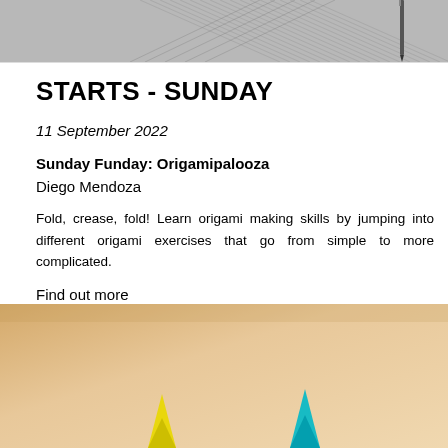[Figure (photo): Grayscale image showing pencil drawing marks and a pencil, partial view at top of page]
STARTS - SUNDAY
11 September 2022
Sunday Funday: Origamipalooza
Diego Mendoza
Fold, crease, fold! Learn origami making skills by jumping into different origami exercises that go from simple to more complicated.
Find out more
[Figure (photo): Warm beige/tan background with yellow and teal/blue origami-like folded paper pieces visible at bottom]